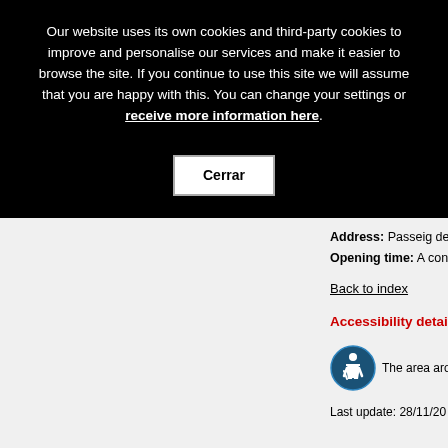Our website uses its own cookies and third-party cookies to improve and personalise our services and make it easier to browse the site. If you continue to use this site we will assume that you are happy with this. You can change your settings or receive more information here.
Cerrar
Address: Passeig de
Opening time: A cons
Back to index
Accessibility details
The area aro
Last update: 28/11/20